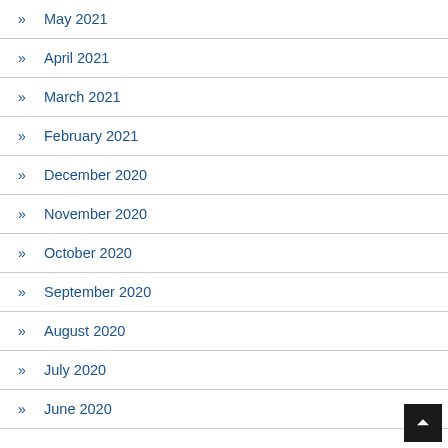May 2021
April 2021
March 2021
February 2021
December 2020
November 2020
October 2020
September 2020
August 2020
July 2020
June 2020